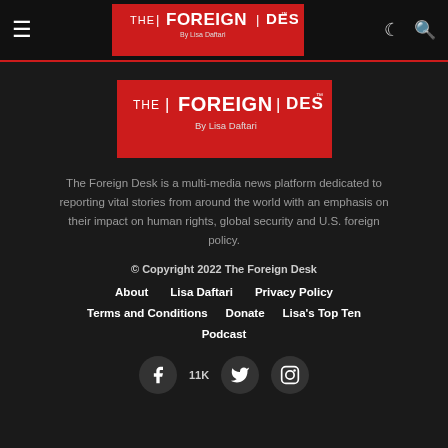THE | FOREIGN | DESK™ By Lisa Daftari — navigation bar
[Figure (logo): The Foreign Desk logo — white text on red background, 'THE | FOREIGN | DESK™ By Lisa Daftari']
The Foreign Desk is a multi-media news platform dedicated to reporting vital stories from around the world with an emphasis on their impact on human rights, global security and U.S. foreign policy.
© Copyright 2022 The Foreign Desk
About
Lisa Daftari
Privacy Policy
Terms and Conditions
Donate
Lisa's Top Ten
Podcast
[Figure (infographic): Social media icons: Facebook (with 11K count), Twitter, Instagram — white icons on dark circles]